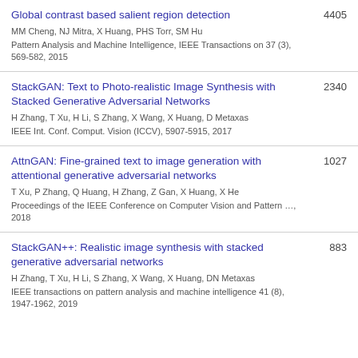Global contrast based salient region detection | MM Cheng, NJ Mitra, X Huang, PHS Torr, SM Hu | Pattern Analysis and Machine Intelligence, IEEE Transactions on 37 (3), 569-582, 2015 | 4405
StackGAN: Text to Photo-realistic Image Synthesis with Stacked Generative Adversarial Networks | H Zhang, T Xu, H Li, S Zhang, X Wang, X Huang, D Metaxas | IEEE Int. Conf. Comput. Vision (ICCV), 5907-5915, 2017 | 2340
AttnGAN: Fine-grained text to image generation with attentional generative adversarial networks | T Xu, P Zhang, Q Huang, H Zhang, Z Gan, X Huang, X He | Proceedings of the IEEE Conference on Computer Vision and Pattern …, 2018 | 1027
StackGAN++: Realistic image synthesis with stacked generative adversarial networks | H Zhang, T Xu, H Li, S Zhang, X Wang, X Huang, DN Metaxas | IEEE transactions on pattern analysis and machine intelligence 41 (8), 1947-1962, 2019 | 883